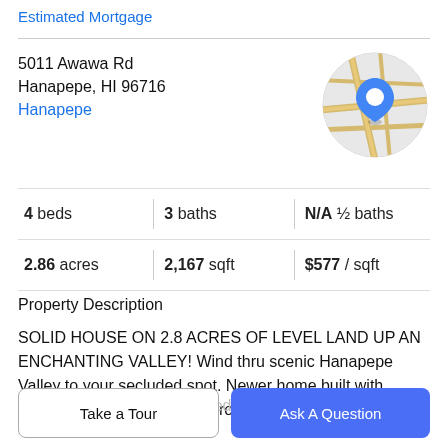Estimated Mortgage
5011 Awawa Rd
Hanapepe, HI 96716
Hanapepe
[Figure (map): Circular map thumbnail showing street map with a blue location pin marker, roads in yellow/gold on a light grey background.]
| 4 beds | 3 baths | N/A ½ baths |
| 2.86 acres | 2,167 sqft | $577 / sqft |
Property Description
SOLID HOUSE ON 2.8 ACRES OF LEVEL LAND UP AN ENCHANTING VALLEY! Wind thru scenic Hanapepe Valley to your secluded spot. Newer home built with concrete and love has 3 bedrooms, living, dining, and
kitchen upstairs and a 4th bedroom and bonus room that
Take a Tour
Ask A Question